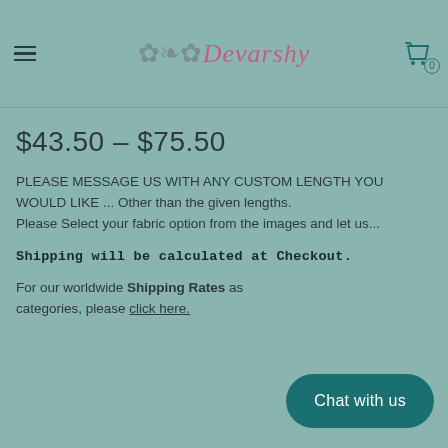CURTAIN PANEL.
Navigation bar with hamburger menu, Devarshy logo, and cart icon (0 items)
$43.50 – $75.50
PLEASE MESSAGE US WITH ANY CUSTOM LENGTH YOU WOULD LIKE ... Other than the given lengths. Please Select your fabric option from the images and let us...
Shipping will be calculated at Checkout.
For our worldwide Shipping Rates as [categories, please click here.